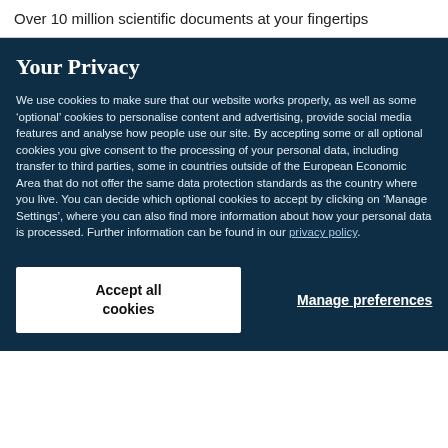Over 10 million scientific documents at your fingertips
Your Privacy
We use cookies to make sure that our website works properly, as well as some ‘optional’ cookies to personalise content and advertising, provide social media features and analyse how people use our site. By accepting some or all optional cookies you give consent to the processing of your personal data, including transfer to third parties, some in countries outside of the European Economic Area that do not offer the same data protection standards as the country where you live. You can decide which optional cookies to accept by clicking on ‘Manage Settings’, where you can also find more information about how your personal data is processed. Further information can be found in our privacy policy.
Accept all cookies
Manage preferences